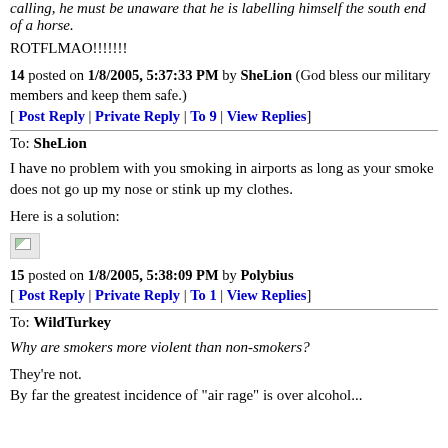calling, he must be unaware that he is labelling himself the south end of a horse.
ROTFLMAO!!!!!!!
14 posted on 1/8/2005, 5:37:33 PM by SheLion (God bless our military members and keep them safe.) [ Post Reply | Private Reply | To 9 | View Replies]
To: SheLion
I have no problem with you smoking in airports as long as your smoke does not go up my nose or stink up my clothes.
Here is a solution:
[Figure (photo): Broken image placeholder]
15 posted on 1/8/2005, 5:38:09 PM by Polybius [ Post Reply | Private Reply | To 1 | View Replies]
To: WildTurkey
Why are smokers more violent than non-smokers?
They're not. By far the greatest incidence of "air rage" is over alcohol...